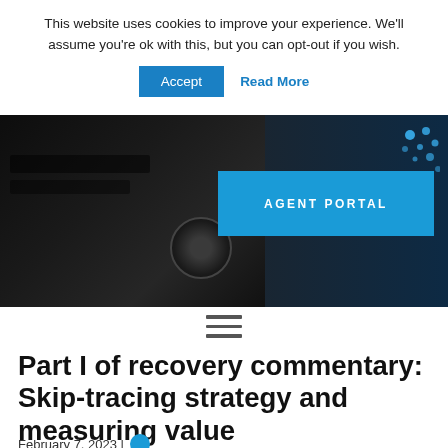This website uses cookies to improve your experience. We'll assume you're ok with this, but you can opt-out if you wish.
Accept   Read More
[Figure (photo): Dark hero image showing a car interior/exterior detail on the left and a dark blue background with light blue dots on the right. An 'AGENT PORTAL' button overlays the right portion.]
[Figure (infographic): Hamburger menu icon (three horizontal lines)]
Part I of recovery commentary: Skip-tracing strategy and measuring value
February 7, 2023 |